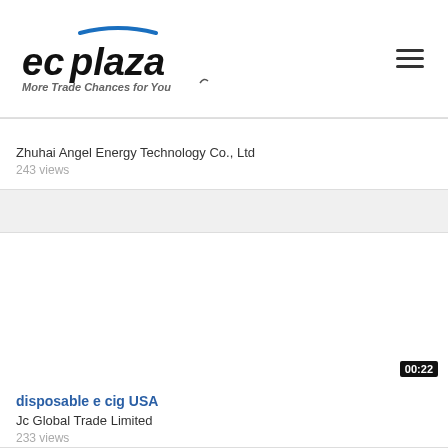ecplaza - More Trade Chances for You
Zhuhai Angel Energy Technology Co., Ltd
243 views
[Figure (other): Blank white video thumbnail with duration badge showing 00:22]
disposable e cig USA
Jc Global Trade Limited
233 views